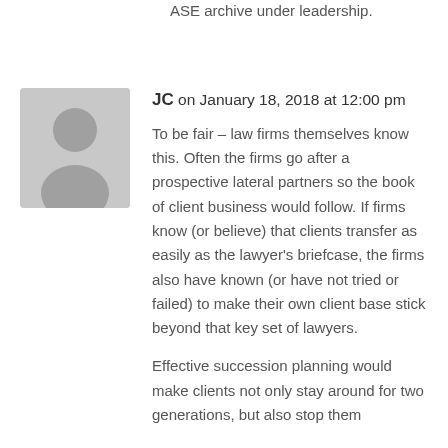ASE archive under leadership.
JC on January 18, 2018 at 12:00 pm
[Figure (illustration): Generic grey avatar placeholder with silhouette of a person (head and shoulders)]
To be fair – law firms themselves know this. Often the firms go after a prospective lateral partners so the book of client business would follow. If firms know (or believe) that clients transfer as easily as the lawyer's briefcase, the firms also have known (or have not tried or failed) to make their own client base stick beyond that key set of lawyers.
Effective succession planning would make clients not only stay around for two generations, but also stop them